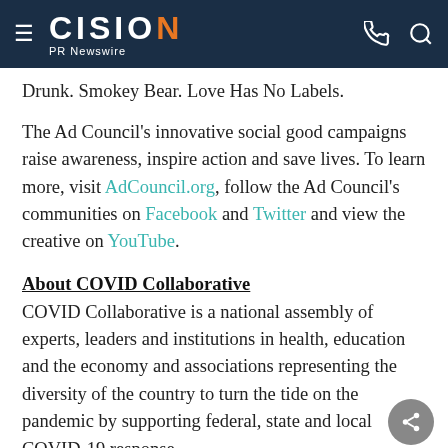CISION PR Newswire
Drunk. Smokey Bear. Love Has No Labels.
The Ad Council's innovative social good campaigns raise awareness, inspire action and save lives. To learn more, visit AdCouncil.org, follow the Ad Council's communities on Facebook and Twitter and view the creative on YouTube.
About COVID Collaborative
COVID Collaborative is a national assembly of experts, leaders and institutions in health, education and the economy and associations representing the diversity of the country to turn the tide on the pandemic by supporting federal, state and local COVID-19 response